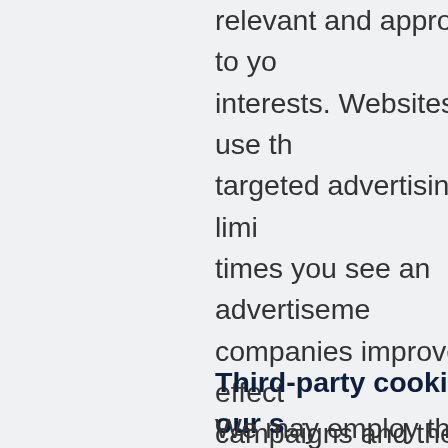relevant and appropriate to your interests. Websites may use targeted advertising or to limit the times you see an advertisement, help companies improve the effectiveness of campaigns and the quality of content shown to you. These cookies may be set by sites you're visiting (first-party) or by third-party services. Targeting/advertising cookies from third-parties may be used to track you across websites that use the same third-party. If you use targeting/advertising cookies
Third-party cookies on our s
We may employ third-party co